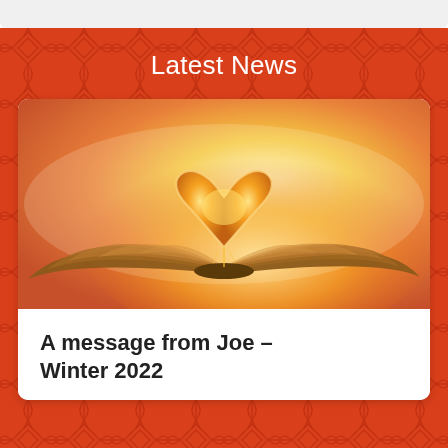Latest News
[Figure (photo): An open book with pages folded into a heart shape, backlit by warm golden/orange sunset light, creating a glowing heart silhouette above the open pages.]
A message from Joe – Winter 2022